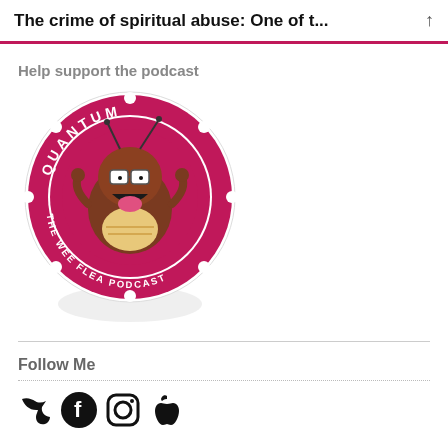The crime of spiritual abuse: One of t...
Help support the podcast
[Figure (logo): Quantum - The Wee Flea Podcast logo: circular red badge with a cartoon flea character wearing glasses, arms outstretched, with text 'QUANTUM' at top and 'THE WEE FLEA PODCAST' at bottom]
Follow Me
[Figure (infographic): Row of social media icons: Twitter (bird), Facebook (f), Instagram (camera), Apple (apple logo)]